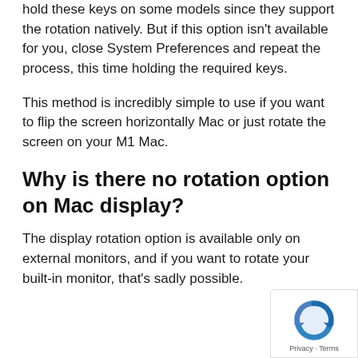hold these keys on some models since they support the rotation natively. But if this option isn't available for you, close System Preferences and repeat the process, this time holding the required keys.
This method is incredibly simple to use if you want to flip the screen horizontally Mac or just rotate the screen on your M1 Mac.
Why is there no rotation option on Mac display?
The display rotation option is available only on external monitors, and if you want to rotate your built-in monitor, that's sadly possible.
[Figure (logo): reCAPTCHA badge with blue recaptcha icon and Privacy - Terms links]